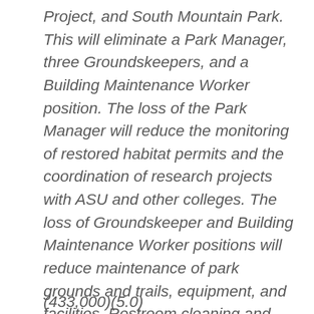Project, and South Mountain Park. This will eliminate a Park Manager, three Groundskeepers, and a Building Maintenance Worker position. The loss of the Park Manager will reduce the monitoring of restored habitat permits and the coordination of research projects with ASU and other colleges. The loss of Groundskeeper and Building Maintenance Worker positions will reduce maintenance of park grounds and trails, equipment, and facilities. Restroom cleaning and tree trimming will be reduced from three times per week to infrequently and fewer ramada reservations will be accepted.
(433,000)(5.0)